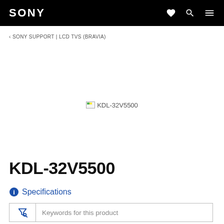SONY
‹ SONY SUPPORT | LCD TVS (BRAVIA)
[Figure (photo): Broken/missing product image placeholder for KDL-32V5500]
KDL-32V5500
ⓘ Specifications
Keywords for this product